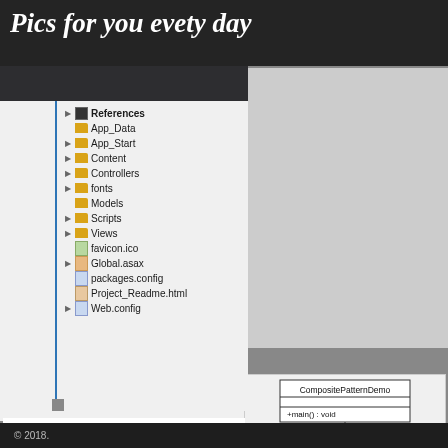Pics for you evety day
[Figure (screenshot): Visual Studio Solution Explorer showing a file/folder tree for an ASP.NET MVC project with folders: Properties, References, App_Data, App_Start, Content, Controllers, fonts, Models, Scripts, Views, and files favicon.ico, Global.asax, packages.config, Project_Readme.html, Web.config]
ASP.NET MVC Edit Primary Key Values for Composite Keys - CodeProject
[Figure (engineering-diagram): UML class diagram showing CompositePatternDemo class with +main() : void method, connected by 'asks' arrow to Employee class. Employee has attributes: -name: String, -dept: String, -salary: int, -subordinates: List<Employee>. Methods: -Employee(), +add() : void, +remove() : void, +getSubordinates: List <Employee>, +toString() : String. Has annotation 'Has list of employees' on the right side.]
© 2018.